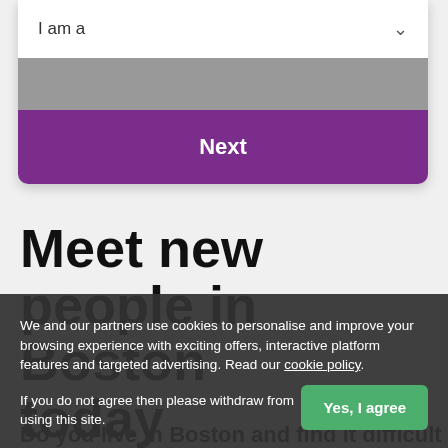[Figure (screenshot): A white card UI element with a dropdown selector labeled 'I am a' with a chevron icon, a gray bar, and a purple 'Next' button]
Meet new people in Boston today
Do you live in Boston and find it difficult
We and our partners use cookies to personalise and improve your browsing experience with exciting offers, interactive platform features and targeted advertising. Read our cookie policy.
If you do not agree then please withdraw from using this site.